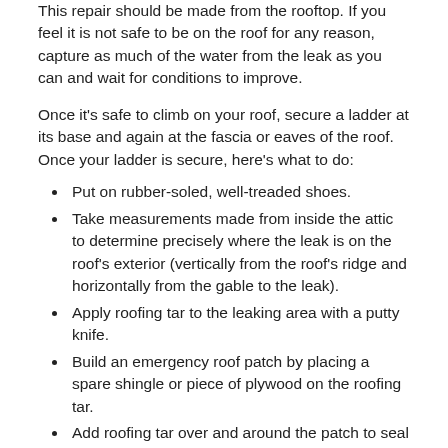This repair should be made from the rooftop. If you feel it is not safe to be on the roof for any reason, capture as much of the water from the leak as you can and wait for conditions to improve.
Once it's safe to climb on your roof, secure a ladder at its base and again at the fascia or eaves of the roof. Once your ladder is secure, here's what to do:
Put on rubber-soled, well-treaded shoes.
Take measurements made from inside the attic to determine precisely where the leak is on the roof's exterior (vertically from the roof's ridge and horizontally from the gable to the leak).
Apply roofing tar to the leaking area with a putty knife.
Build an emergency roof patch by placing a spare shingle or piece of plywood on the roofing tar.
Add roofing tar over and around the patch to seal it and make it stay in place.
If you cannot find the leak's location, build an emergency roof